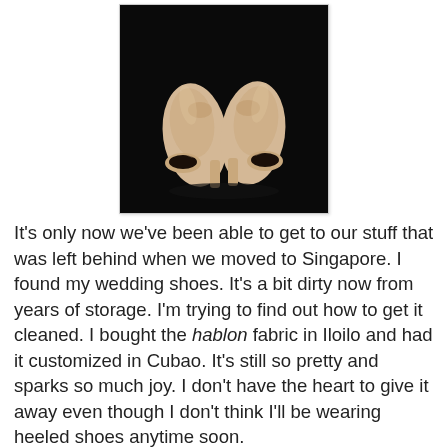[Figure (photo): A pair of nude/beige peep-toe high heel pumps photographed against a black background]
It's only now we've been able to get to our stuff that was left behind when we moved to Singapore. I found my wedding shoes. It's a bit dirty now from years of storage. I'm trying to find out how to get it cleaned. I bought the hablon fabric in Iloilo and had it customized in Cubao. It's still so pretty and sparks so much joy. I don't have the heart to give it away even though I don't think I'll be wearing heeled shoes anytime soon.
In fairness, I was able to reduce my shoes by 70%. I have only been using one pair since I got home. My lifestyle now is so different so I don't need a lot of stuff. We filled up a balikbayan box full of shoes and just in time because my Tita